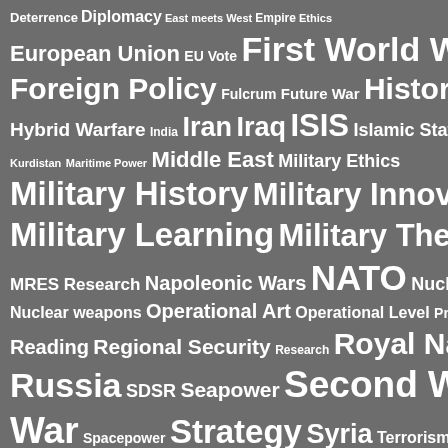[Figure (infographic): Word cloud on grey background with military, geopolitical and strategic studies topics in varying font sizes. Terms include: Deterrence, Diplomacy, East meets West, Empire, Ethics, European Union, EU Vote, First World War, Foreign Policy, Fulcrum, Future War, History, Hybrid Warfare, India, Iran, Iraq, ISIS, Islamic State, Kurdistan, Maritime Power, Middle East, Military Ethics, Military History, Military Innovation, Military Learning, Military Theory, MRES Research, Napoleonic Wars, NATO, Nuclear, Nuclear weapons, Operational Art, Operational Level, Procurement, Reading, Regional Security, Research, Royal Navy, Russia, SDSR, Seapower, Second World War, Spacepower, Strategy, Syria, Terrorism, Trump, Turkey, UK, Ukraine, USA, US Foreign Policy, Vietnam War]